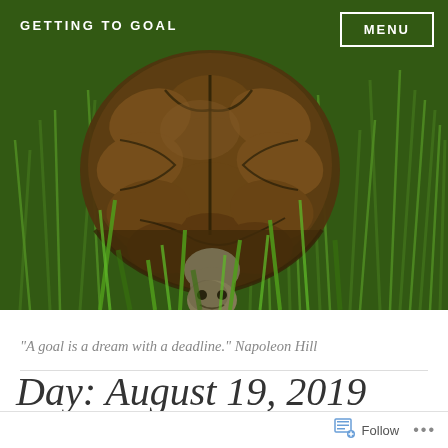[Figure (photo): Close-up photo of a tortoise from above, walking through green grass. The tortoise shell is visible with brown and dark patterns. The tortoise's head is slightly extended downward. Background is lush green grass.]
GETTING TO GOAL
MENU
"A goal is a dream with a deadline." Napoleon Hill
Day: August 19, 2019
Follow ...